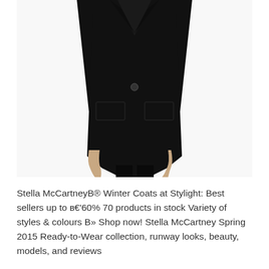[Figure (photo): A model wearing a black Stella McCartney wool coat, single-button closure, with patch pockets, shown from shoulders to knees against a white background.]
Stella McCartneyВ® Winter Coats at Stylight: Best sellers up to в€'60% 70 products in stock Variety of styles & colours В» Shop now! Stella McCartney Spring 2015 Ready-to-Wear collection, runway looks, beauty, models, and reviews